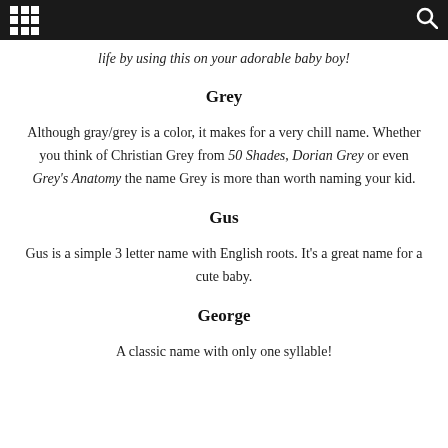[navigation bar with grid icon and search icon]
life by using this on your adorable baby boy!
Grey
Although gray/grey is a color, it makes for a very chill name. Whether you think of Christian Grey from 50 Shades, Dorian Grey or even Grey's Anatomy the name Grey is more than worth naming your kid.
Gus
Gus is a simple 3 letter name with English roots. It's a great name for a cute baby.
George
A classic name with only one syllable!